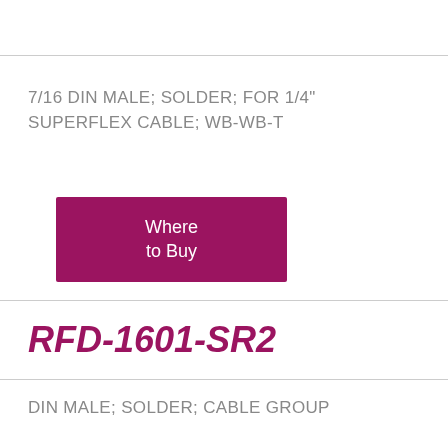7/16 DIN MALE; SOLDER; FOR 1/4" SUPERFLEX CABLE; WB-WB-T
[Figure (other): Where to Buy button - purple/maroon rectangular button]
RFD-1601-SR2
DIN MALE; SOLDER; CABLE GROUP